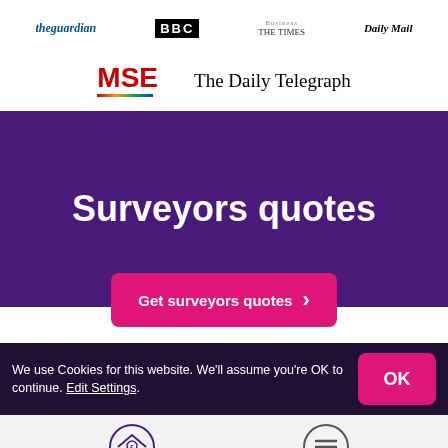[Figure (logo): Row of media logos: The Guardian, BBC, The Times, Daily Mail]
[Figure (logo): MSE (MoneySavingExpert) and The Daily Telegraph logos]
Surveyors quotes
[Figure (other): Pink CTA button: Get surveyors quotes with arrow]
We use Cookies for this website. We'll assume you're OK to continue. Edit Settings.
[Figure (other): Bottom navigation: Get Quotes icon (house with pound sign) and Menu icon (hamburger)]